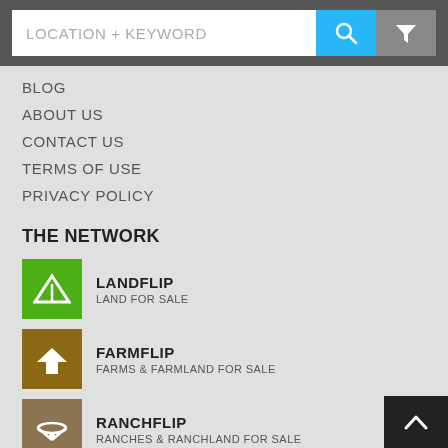LOCATION + KEYWORD
BLOG
ABOUT US
CONTACT US
TERMS OF USE
PRIVACY POLICY
THE NETWORK
LANDFLIP
LAND FOR SALE
FARMFLIP
FARMS & FARMLAND FOR SALE
RANCHFLIP
RANCHES & RANCHLAND FOR SALE
AUCTIONFLIP
LAND AUCTIONS